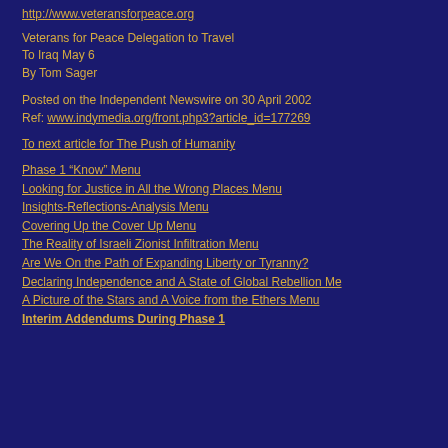http://www.veteransforpeace.org
Veterans for Peace Delegation to Travel
To Iraq May 6
By Tom Sager
Posted on the Independent Newswire on 30 April 2002
Ref: www.indymedia.org/front.php3?article_id=177269
To next article for The Push of Humanity
Phase 1 “Know” Menu
Looking for Justice in All the Wrong Places Menu
Insights-Reflections-Analysis Menu
Covering Up the Cover Up Menu
The Reality of Israeli Zionist Infiltration Menu
Are We On the Path of Expanding Liberty or Tyranny?
Declaring Independence and A State of Global Rebellion Me…
A Picture of the Stars and A Voice from the Ethers Menu
Interim Addendums During Phase 1